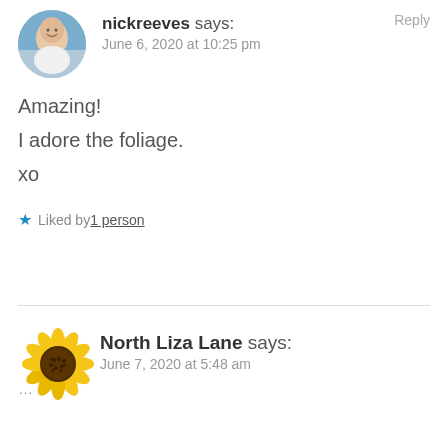[Figure (photo): Avatar photo of nickreeves, a bald smiling man near water]
nickreeves says:
June 6, 2020 at 10:25 pm
Reply
Amazing!
I adore the foliage.
xo
★ Liked by 1 person
[Figure (illustration): Sunflower emoji avatar for North Liza Lane]
North Liza Lane says:
June 7, 2020 at 5:48 am
...